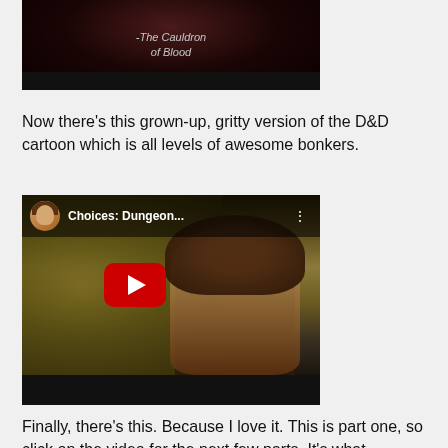[Figure (screenshot): Top portion of a dark YouTube video thumbnail showing text '-The Cauldron of Blood' on a dark reddish background]
Now there's this grown-up, gritty version of the D&D cartoon which is all levels of awesome bonkers.
[Figure (screenshot): YouTube video thumbnail showing 'Choices: Dungeon...' with a woman with red hair in a sepia-toned outdoor scene, with YouTube play button overlay, user avatar and title in top bar]
Finally, there's this. Because I love it. This is part one, so click on the video for the next few parts. It's what happens to